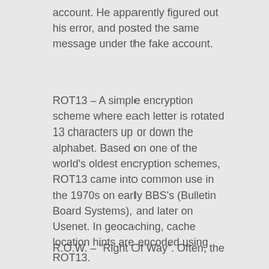account. He apparently figured out his error, and posted the same message under the fake account.
ROT13 – A simple encryption scheme where each letter is rotated 13 characters up or down the alphabet. Based on one of the world's oldest encryption schemes, ROT13 came into common use in the 1970s on early BBS's (Bulletin Board Systems), and later on Usenet. In geocaching, cache location hints are encoded using ROT13.
R.O.W. – "Right Of Way". Often, the